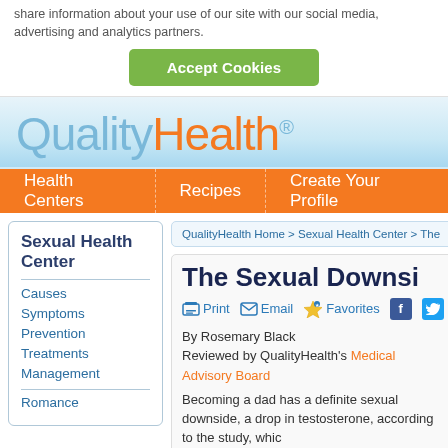share information about your use of our site with our social media, advertising and analytics partners.
[Figure (screenshot): Green 'Accept Cookies' button]
[Figure (logo): QualityHealth® logo with blue and orange text]
Health Centers | Recipes | Create Your Profile
Sexual Health Center
Causes
Symptoms
Prevention
Treatments
Management
Romance
QualityHealth Home > Sexual Health Center > The...
The Sexual Downsi...
Print  Email  Favorites
By Rosemary Black
Reviewed by QualityHealth's Medical Advisory Board
Becoming a dad has a definite sexual downside, a drop in testosterone, according to the study, which...